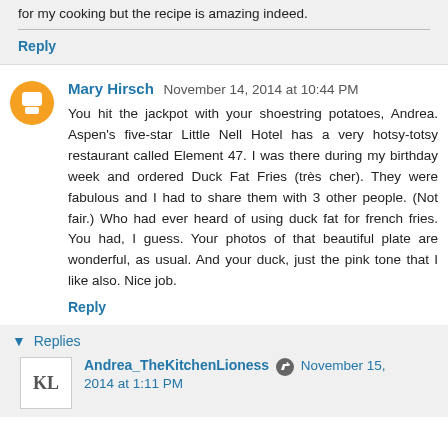for my cooking but the recipe is amazing indeed.
Reply
Mary Hirsch  November 14, 2014 at 10:44 PM
You hit the jackpot with your shoestring potatoes, Andrea. Aspen's five-star Little Nell Hotel has a very hotsy-totsy restaurant called Element 47. I was there during my birthday week and ordered Duck Fat Fries (très cher). They were fabulous and I had to share them with 3 other people. (Not fair.) Who had ever heard of using duck fat for french fries. You had, I guess. Your photos of that beautiful plate are wonderful, as usual. And your duck, just the pink tone that I like also. Nice job.
Reply
Replies
Andrea_TheKitchenLioness  November 15, 2014 at 1:11 PM